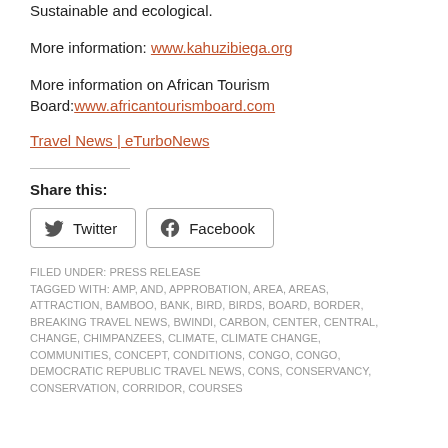Sustainable and ecological.
More information: www.kahuzibiega.org
More information on African Tourism Board:www.africantourismboard.com
Travel News | eTurboNews
Share this:
Twitter  Facebook
FILED UNDER: PRESS RELEASE
TAGGED WITH: AMP, AND, APPROBATION, AREA, AREAS, ATTRACTION, BAMBOO, BANK, BIRD, BIRDS, BOARD, BORDER, BREAKING TRAVEL NEWS, BWINDI, CARBON, CENTER, CENTRAL, CHANGE, CHIMPANZEES, CLIMATE, CLIMATE CHANGE, COMMUNITIES, CONCEPT, CONDITIONS, CONGO, CONGO, DEMOCRATIC REPUBLIC TRAVEL NEWS, CONS, CONSERVANCY, CONSERVATION, CORRIDOR, COURSES